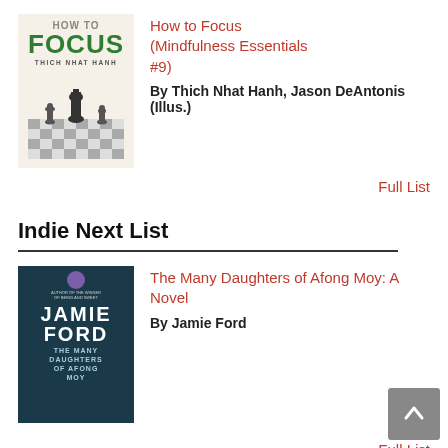[Figure (illustration): Book cover for 'How to Focus' by Thich Nhat Hanh showing chess pieces on a checkered board with green and gray title text]
How to Focus (Mindfulness Essentials #9)
By Thich Nhat Hanh, Jason DeAntonis (Illus.)
Full List
Indie Next List
[Figure (illustration): Book cover for 'The Many Daughters of Afong Moy' by Jamie Ford with dark teal background and white bold text]
The Many Daughters of Afong Moy: A Novel
By Jamie Ford
Full List